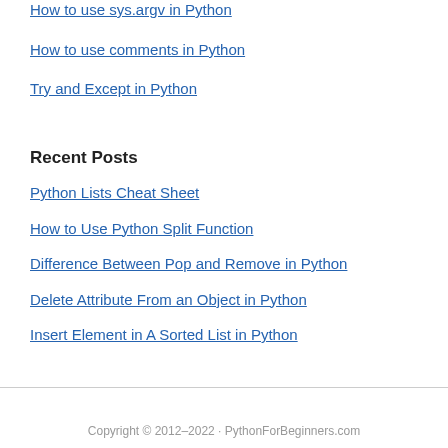How to use sys.argv in Python
How to use comments in Python
Try and Except in Python
Recent Posts
Python Lists Cheat Sheet
How to Use Python Split Function
Difference Between Pop and Remove in Python
Delete Attribute From an Object in Python
Insert Element in A Sorted List in Python
Copyright © 2012–2022 · PythonForBeginners.com